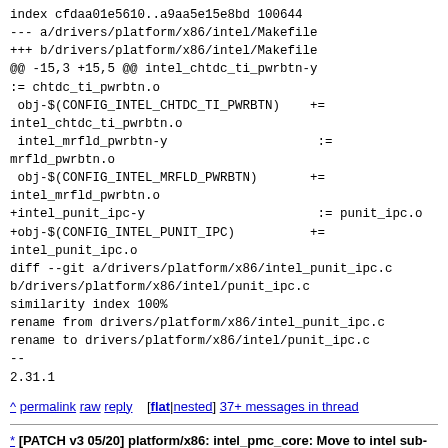index cfdaa01e5610..a9aa5e15e8bd 100644
--- a/drivers/platform/x86/intel/Makefile
+++ b/drivers/platform/x86/intel/Makefile
@@ -15,3 +15,5 @@ intel_chtdc_ti_pwrbtn-y
:= chtdc_ti_pwrbtn.o
 obj-$(CONFIG_INTEL_CHTDC_TI_PWRBTN)    +=
intel_chtdc_ti_pwrbtn.o
 intel_mrfld_pwrbtn-y                    :=
mrfld_pwrbtn.o
 obj-$(CONFIG_INTEL_MRFLD_PWRBTN)       +=
intel_mrfld_pwrbtn.o
+intel_punit_ipc-y                       := punit_ipc.o
+obj-$(CONFIG_INTEL_PUNIT_IPC)          +=
intel_punit_ipc.o
diff --git a/drivers/platform/x86/intel_punit_ipc.c
b/drivers/platform/x86/intel/punit_ipc.c
similarity index 100%
rename from drivers/platform/x86/intel_punit_ipc.c
rename to drivers/platform/x86/intel/punit_ipc.c
--
2.31.1
^ permalink raw reply [flat|nested] 37+ messages in thread
* [PATCH v3 05/20] platform/x86: intel_pmc_core: Move to intel sub-directory
  2021-08-19  3:29 [PATCH v3 00/20] Intel platform